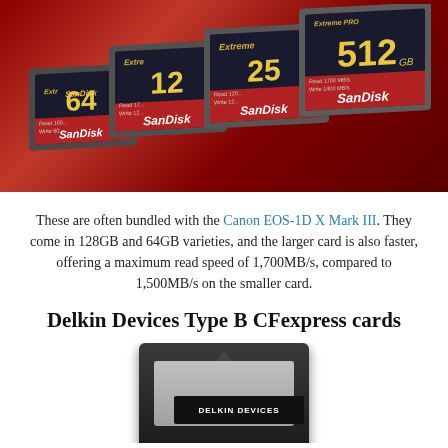[Figure (photo): SanDisk Extreme Pro CFexpress cards fanned out against a red background, showing 64GB, 128GB, 256GB, and 512GB capacity variants]
These are often bundled with the Canon EOS-1D X Mark III. They come in 128GB and 64GB varieties, and the larger card is also faster, offering a maximum read speed of 1,700MB/s, compared to 1,500MB/s on the smaller card.
Delkin Devices Type B CFexpress cards
[Figure (photo): Delkin Devices Type B CFexpress card shown from the front, dark gray body with silver label and Delkin Devices logo]